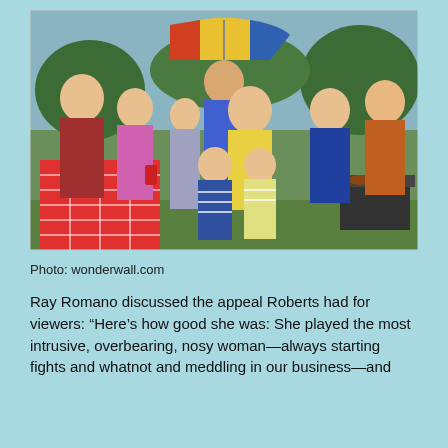[Figure (photo): A group photo of the cast of Everybody Loves Raymond. Multiple adults and children posed together in an outdoor barbecue setting with a red checkered tablecloth, grill, and colorful umbrella in the background.]
Photo: wonderwall.com
Ray Romano discussed the appeal Roberts had for viewers: “Here’s how good she was: She played the most intrusive, overbearing, nosy woman—always starting fights and whatnot and meddling in our business—and